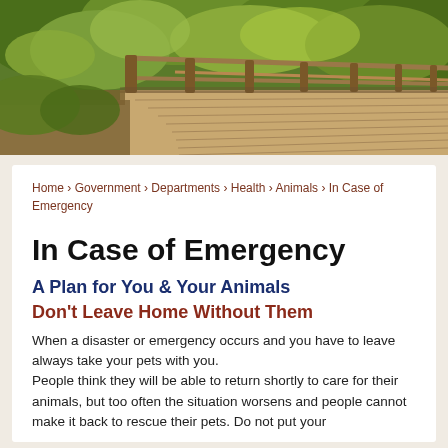[Figure (photo): Wooden bridge/boardwalk with railings surrounded by green trees and forest foliage]
Home › Government › Departments › Health › Animals › In Case of Emergency
In Case of Emergency
A Plan for You & Your Animals
Don't Leave Home Without Them
When a disaster or emergency occurs and you have to leave always take your pets with you.
People think they will be able to return shortly to care for their animals, but too often the situation worsens and people cannot make it back to rescue their pets. Do not put your